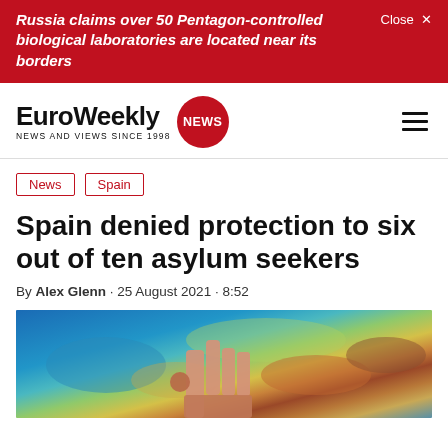Russia claims over 50 Pentagon-controlled biological laboratories are located near its borders | Close X
[Figure (logo): EuroWeekly NEWS logo with red circle badge. Tagline: NEWS AND VIEWS SINCE 1998]
News | Spain
Spain denied protection to six out of ten asylum seekers
By Alex Glenn · 25 August 2021 · 8:52
[Figure (photo): Person pointing at a topographic/relief map of Europe and surrounding regions]